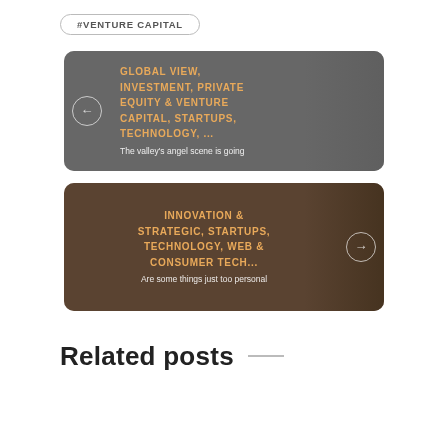#VENTURE CAPITAL
[Figure (other): Card with dark gray background showing navigation arrow left button and text: GLOBAL VIEW, INVESTMENT, PRIVATE EQUITY & VENTURE CAPITAL, STARTUPS, TECHNOLOGY, ... with subtitle: The valley's angel scene is going]
[Figure (other): Card with brown background showing navigation arrow right button and text: INNOVATION & STRATEGIC, STARTUPS, TECHNOLOGY, WEB & CONSUMER TECH... with subtitle: Are some things just too personal]
Related posts